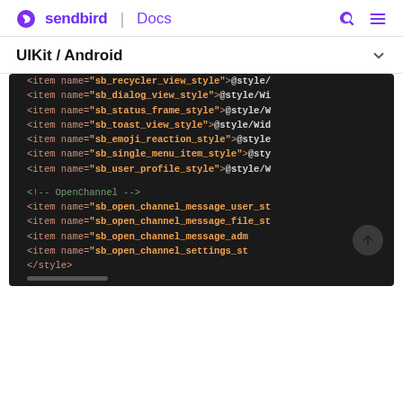sendbird | Docs
UIKit / Android
[Figure (screenshot): Code block showing XML style items including sb_recycler_view_style, sb_dialog_view_style, sb_status_frame_style, sb_toast_view_style, sb_emoji_reaction_style, sb_single_menu_item_style, sb_user_profile_style, then a comment OpenChannel and items sb_open_channel_message_user_st, sb_open_channel_message_file_st, sb_open_channel_message_adm, sb_open_channel_settings_st, and closing </style> tag, on a dark background]